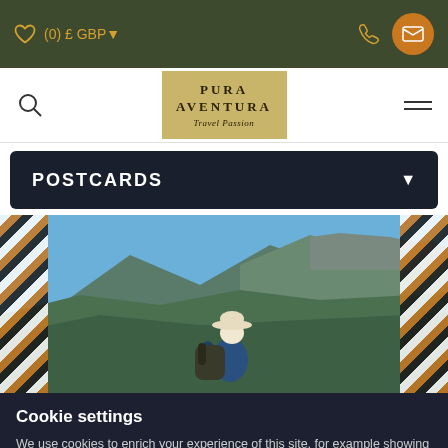(0) £ GBP
[Figure (logo): Pura Aventura Travel Passion logo on gold/tan background]
POSTCARDS
[Figure (photo): Person in white hat and blue shirt standing on a hilltop overlooking a dramatic green mountainous landscape under a blue sky]
Cookie settings
We use cookies to enrich your experience of this site, for example showing maps or storing your favourite trips. We don't use them to store personal information, but if you prefer not to allow them, we won't take it personally.
OK
Show details and manage cookies